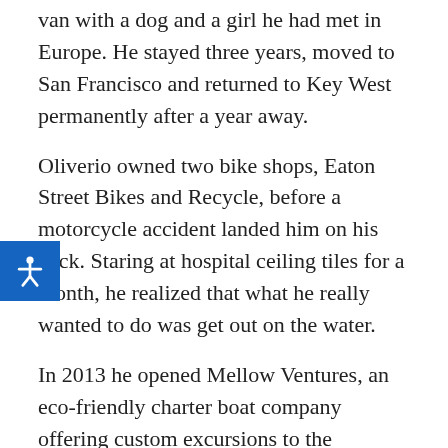van with a dog and a girl he had met in Europe. He stayed three years, moved to San Francisco and returned to Key West permanently after a year away.
Oliverio owned two bike shops, Eaton Street Bikes and Recycle, before a motorcycle accident landed him on his back. Staring at hospital ceiling tiles for a month, he realized that what he really wanted to do was get out on the water.
In 2013 he opened Mellow Ventures, an eco-friendly charter boat company offering custom excursions to the backcountry, including day trips to the Marquesas Keys, from locations on North Roosevelt Boulevard and William Street. His Mellow Café and Gastropub serves vegan fare, exotic meats and craft beer. His clientele is about 75% local residents.
Now 48 years old, Oliverio lives with his 15-year-old daughter Bella and dogs Lowka and Riki behind Key West's historic Christian Science Church & Reading Room, which